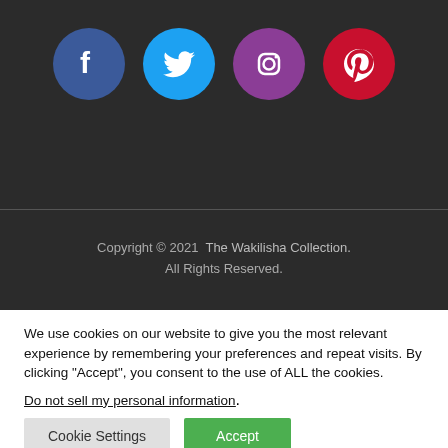[Figure (illustration): Four social media icons in colored circles: Facebook (blue), Twitter (light blue), Instagram (purple), Pinterest (red)]
Copyright © 2021  The Wakilisha Collection.
All Rights Reserved.
We use cookies on our website to give you the most relevant experience by remembering your preferences and repeat visits. By clicking "Accept", you consent to the use of ALL the cookies.
Do not sell my personal information.
Cookie Settings   Accept